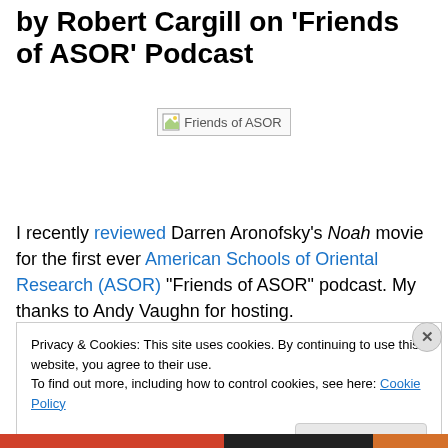by Robert Cargill on 'Friends of ASOR' Podcast
[Figure (other): Broken image placeholder for 'Friends of ASOR' podcast logo]
I recently reviewed Darren Aronofsky's Noah movie for the first ever American Schools of Oriental Research (ASOR) "Friends of ASOR" podcast. My thanks to Andy Vaughn for hosting.
Privacy & Cookies: This site uses cookies. By continuing to use this website, you agree to their use. To find out more, including how to control cookies, see here: Cookie Policy